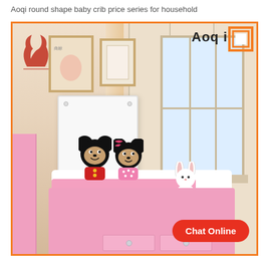Aoqi round shape baby crib price series for household
[Figure (photo): Product photo of a children's bedroom featuring a pink bed with Mickey and Minnie Mouse stuffed toys, white headboard, pink bedding with drawers underneath, wall art frames, large window with curtain, wardrobe panels, and a bunny toy. Aoqi brand logo visible in top right corner. 'Chat Online' button in bottom right.]